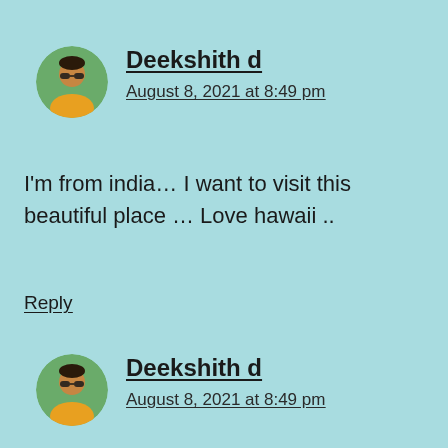[Figure (photo): Circular avatar photo of a young man wearing sunglasses and a yellow/orange shirt, outdoors]
Deekshith d
August 8, 2021 at 8:49 pm
I'm from india… I want to visit this beautiful place … Love hawaii ..
Reply
[Figure (photo): Circular avatar photo of a young man wearing sunglasses and a yellow/orange shirt, outdoors]
Deekshith d
August 8, 2021 at 8:49 pm